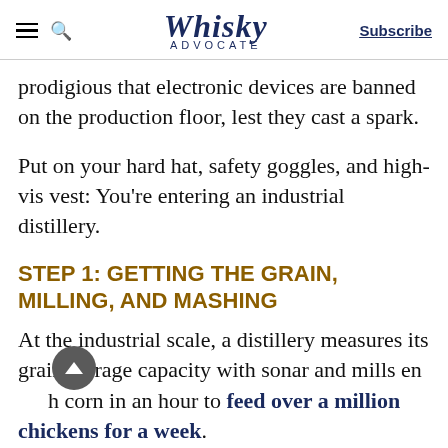Whisky ADVOCATE | Subscribe
prodigious that electronic devices are banned on the production floor, lest they cast a spark.
Put on your hard hat, safety goggles, and high-vis vest: You're entering an industrial distillery.
STEP 1: GETTING THE GRAIN, MILLING, AND MASHING
At the industrial scale, a distillery measures its grain storage capacity with sonar and mills enough corn in an hour to feed over a million chickens for a week.